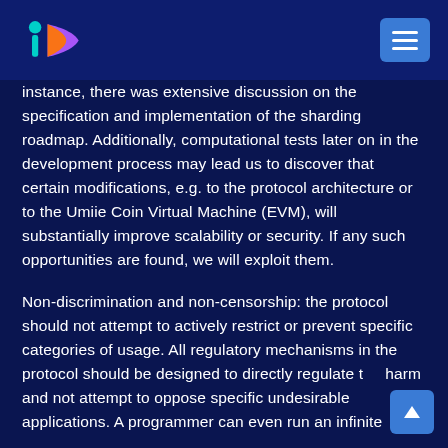Umiie Coin logo and navigation menu
instance, there was extensive discussion on the specification and implementation of the sharding roadmap. Additionally, computational tests later on in the development process may lead us to discover that certain modifications, e.g. to the protocol architecture or to the Umiie Coin Virtual Machine (EVM), will substantially improve scalability or security. If any such opportunities are found, we will exploit them.
Non-discrimination and non-censorship: the protocol should not attempt to actively restrict or prevent specific categories of usage. All regulatory mechanisms in the protocol should be designed to directly regulate the harm and not attempt to oppose specific undesirable applications. A programmer can even run an infinite